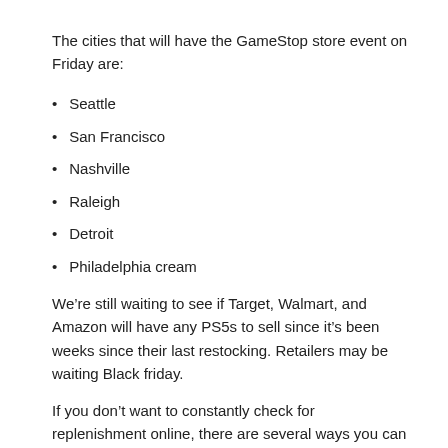The cities that will have the GameStop store event on Friday are:
Seattle
San Francisco
Nashville
Raleigh
Detroit
Philadelphia cream
We’re still waiting to see if Target, Walmart, and Amazon will have any PS5s to sell since it’s been weeks since their last restocking. Retailers may be waiting Black friday.
If you don’t want to constantly check for replenishment online, there are several ways you can be notified of online availability early. The Best Buy Totaltech Subscription Service and GameStop’s PowerUp Rewards Pro service offer early access to the next PS5 replenishment as long as you pay for either service. Meanwhile, PlayStation Direct just facilitated registration for the queue to help manage bots and